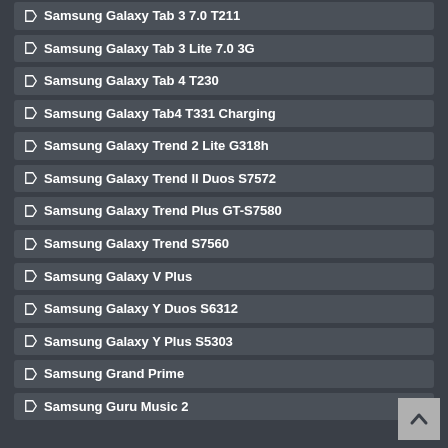Samsung Galaxy Tab 3 7.0 T211
Samsung Galaxy Tab 3 Lite 7.0 3G
Samsung Galaxy Tab 4 T230
Samsung Galaxy Tab4 T331 Charging
Samsung Galaxy Trend 2 Lite G318h
Samsung Galaxy Trend II Duos S7572
Samsung Galaxy Trend Plus GT-S7580
Samsung Galaxy Trend S7560
Samsung Galaxy V Plus
Samsung Galaxy Y Duos S6312
Samsung Galaxy Y Plus S5303
Samsung Grand Prime
Samsung Guru Music 2